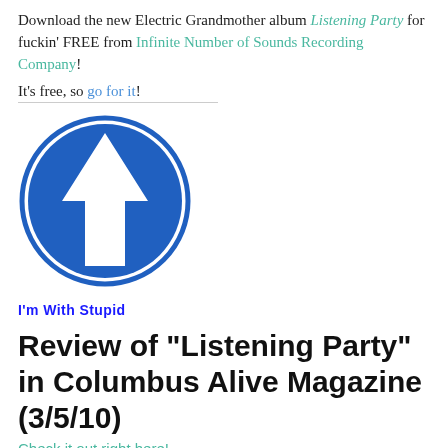Download the new Electric Grandmother album Listening Party for fuckin' FREE from Infinite Number of Sounds Recording Company!
It's free, so go for it!
[Figure (illustration): Blue circular road sign with white upward-pointing arrow, indicating straight ahead / go forward direction.]
I'm With Stupid
Review of "Listening Party" in Columbus Alive Magazine (3/5/10)
Check it out right here!
Electric Grandmother on Local